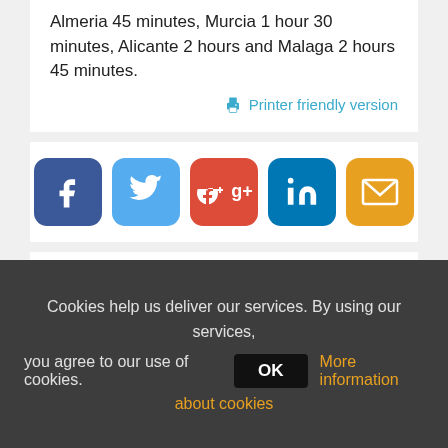Almeria 45 minutes, Murcia 1 hour 30 minutes, Alicante 2 hours and Malaga 2 hours 45 minutes.
Printer friendly version
[Figure (infographic): Social media sharing buttons: Facebook, Twitter, Google+, LinkedIn, Email]
Mortgage calculator
[Figure (screenshot): Partial mortgage calculator widget with grey background]
Cookies help us deliver our services. By using our services, you agree to our use of cookies.
OK
More information about cookies